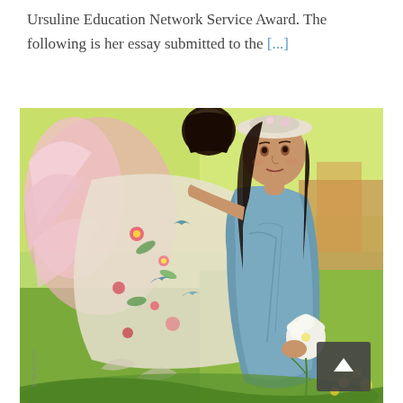Ursuline Education Network Service Award. The following is her essay submitted to the [...]
[Figure (illustration): A colorful painting depicting a woman in a blue dress holding white flowers, wearing a white hat, with long dark hair. To her left is an angelic or fantastical figure with pink wings and a flowing cape covered in flowers, birds, and decorative motifs. The background features green and yellow hues with a village scene on the right. A watermark reads 'artstudio.com' in the lower left corner. A dark grey back-to-top button with a caret/arrow is overlaid in the lower right.]